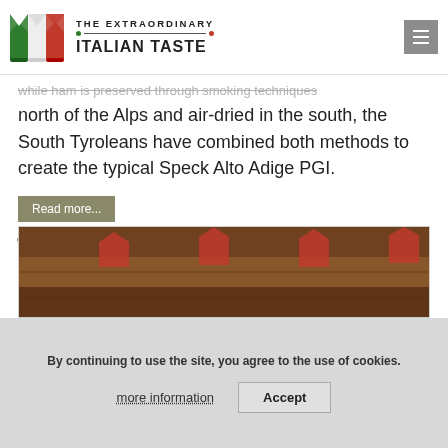THE EXTRAORDINARY ITALIAN TASTE
while ham is preserved through smoking techniques north of the Alps and air-dried in the south, the South Tyroleans have combined both methods to create the typical Speck Alto Adige PGI.
Read more...
PDO/PGI SALUMI
[Figure (photo): Photo of cured meat products with red tags]
By continuing to use the site, you agree to the use of cookies.
more information
Accept